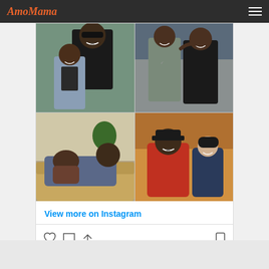AmoMama
[Figure (photo): Instagram embed showing four family photos: top-left: man with sunglasses and young girl smiling; top-right: two tall men standing together indoors; bottom-left: man relaxing on a couch with child; bottom-right: man in red jacket and cap smiling with young child in equestrian gear]
View more on Instagram